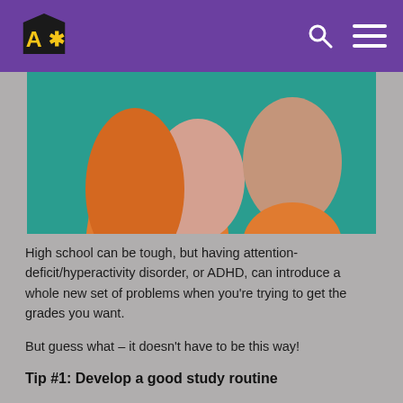ADHD Study Tips
[Figure (illustration): Abstract illustration showing two human profile silhouettes facing each other. One has orange hair and a skin-toned face, the other is a muted skin tone, both on a teal/green background.]
High school can be tough, but having attention-deficit/hyperactivity disorder, or ADHD, can introduce a whole new set of problems when you're trying to get the grades you want.
But guess what – it doesn't have to be this way!
Tip #1: Develop a good study routine